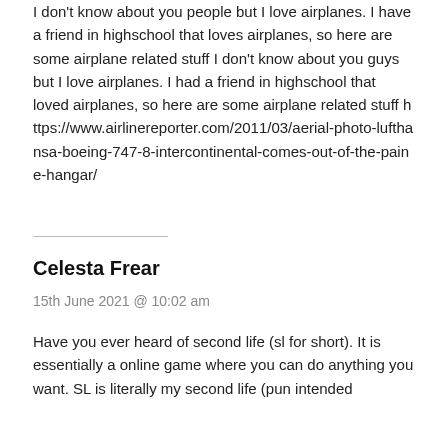I don't know about you people but I love airplanes. I have a friend in highschool that loves airplanes, so here are some airplane related stuff I don't know about you guys but I love airplanes. I had a friend in highschool that loved airplanes, so here are some airplane related stuff https://www.airlinereporter.com/2011/03/aerial-photo-lufthansa-boeing-747-8-intercontinental-comes-out-of-the-paine-hangar/
Celesta Frear
15th June 2021 @ 10:02 am
Have you ever heard of second life (sl for short). It is essentially a online game where you can do anything you want. SL is literally my second life (pun intended